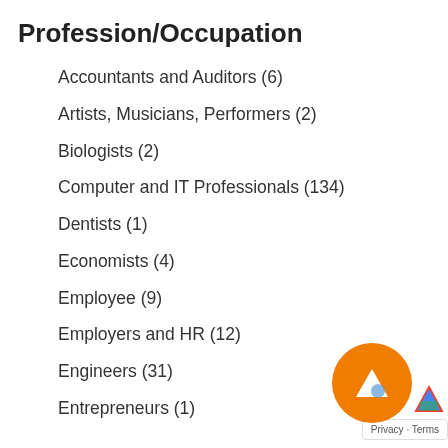Profession/Occupation
Accountants and Auditors (6)
Artists, Musicians, Performers (2)
Biologists (2)
Computer and IT Professionals (134)
Dentists (1)
Economists (4)
Employee (9)
Employers and HR (12)
Engineers (31)
Entrepreneurs (1)